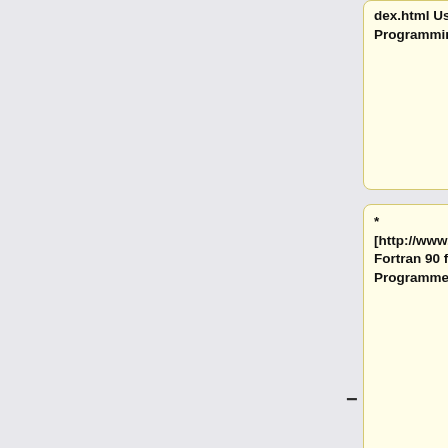dex.html User Notes on FORTRAN Programming]
* [http://www.nsc.liu.se/~boein/f77to90/f77to90.html Fortran 90 for the FORTRAN 77 Programmer]
* [http://www.kcl.ac.uk/kis/support/cc/fortran/f90home.html#1.0 Fortran 90 Home Page at King's College, London]